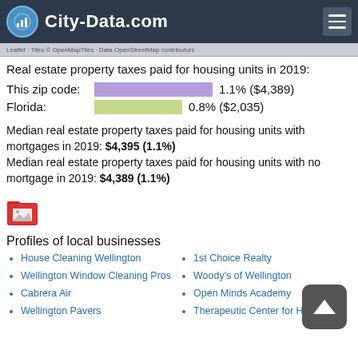City-Data.com
Real estate property taxes paid for housing units in 2019:
This zip code: 1.1% ($4,389)
Florida: 0.8% ($2,035)
Median real estate property taxes paid for housing units with mortgages in 2019: $4,395 (1.1%)
Median real estate property taxes paid for housing units with no mortgage in 2019: $4,389 (1.1%)
Profiles of local businesses
House Cleaning Wellington
Wellington Window Cleaning Pros
Cabrera Air
Wellington Pavers
1st Choice Realty
Woody's of Wellington
Open Minds Academy
Therapeutic Center for Hope Inc